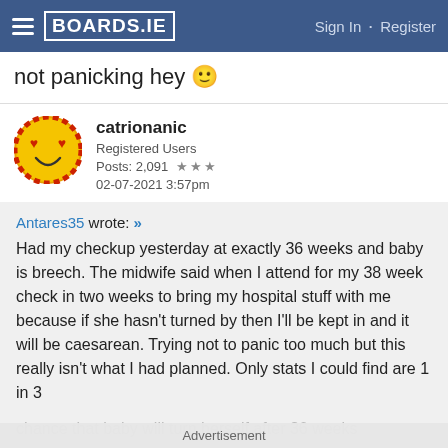BOARDS.IE  Sign In · Register
not panicking hey 🙂
catrionanic
Registered Users
Posts: 2,091 ★★★
02-07-2021 3:57pm
Antares35 wrote: »
Had my checkup yesterday at exactly 36 weeks and baby is breech. The midwife said when I attend for my 38 week check in two weeks to bring my hospital stuff with me because if she hasn't turned by then I'll be kept in and it will be caesarean. Trying not to panic too much but this really isn't what I had planned. Only stats I could find are 1 in 3 chance that baby will turn herself after 36 weeks
Advertisement